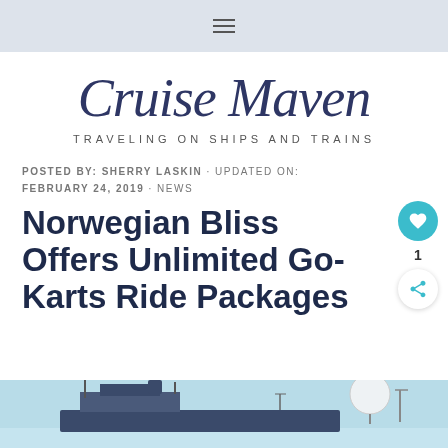≡
Cruise Maven
TRAVELING ON SHIPS AND TRAINS
POSTED BY: SHERRY LASKIN · UPDATED ON: FEBRUARY 24, 2019 · NEWS
Norwegian Bliss Offers Unlimited Go-Karts Ride Packages
[Figure (photo): Ship photo at the bottom of the page]